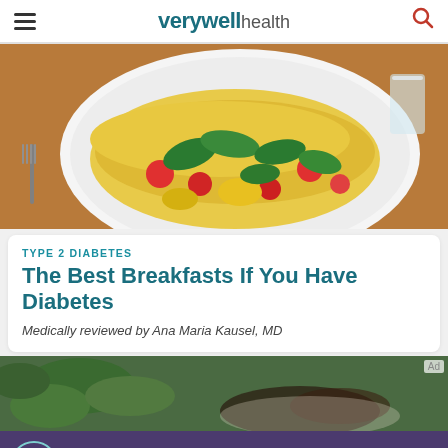verywell health
[Figure (photo): Close-up photo of a vegetable omelette on a white plate with red tomatoes, yellow peppers, green basil leaves, and a fork visible on the left]
TYPE 2 DIABETES
The Best Breakfasts If You Have Diabetes
Medically reviewed by Ana Maria Kausel, MD
[Figure (photo): Partial image of a food dish with green basil leaves, with an 'Ad' label in the top-right corner]
[Figure (other): Advertisement banner for Nurtec OneSource by Biohaven Pharmaceuticals, Inc. with a 'learn more' button. US-RIMODT-2100587 7/6/2021]